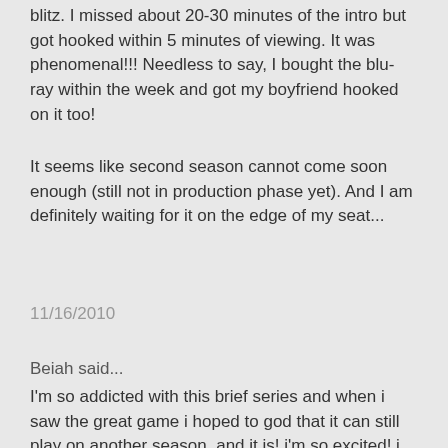blitz. I missed about 20-30 minutes of the intro but got hooked within 5 minutes of viewing. It was phenomenal!!! Needless to say, I bought the blu-ray within the week and got my boyfriend hooked on it too!
It seems like second season cannot come soon enough (still not in production phase yet). And I am definitely waiting for it on the edge of my seat...
11/16/2010
Beiah said...
I'm so addicted with this brief series and when i saw the great game i hoped to god that it can still play on another season. and it is! i'm so excited! i love the modern take on the classic cases such as the study in pink and how Watson in this modern day version is blogging about it. it's not just about